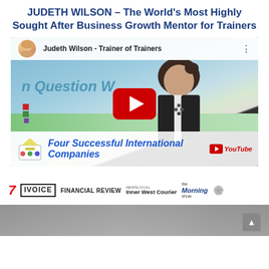JUDETH WILSON – The World's Most Highly Sought After Business Growth Mentor for Trainers
[Figure (screenshot): YouTube video thumbnail showing Judeth Wilson - Trainer of Trainers, with a woman speaking in front of a presentation screen showing 'Question', a red YouTube play button, and a bottom banner reading 'Four Successful International Companies']
[Figure (logo): Media logos strip showing: Channel 7, VOICE, FINANCIAL REVIEW, NewsLocal Inner West Courier, the Morning show]
[Figure (photo): Partial blurred photo at the bottom of the page with a scroll-to-top button]